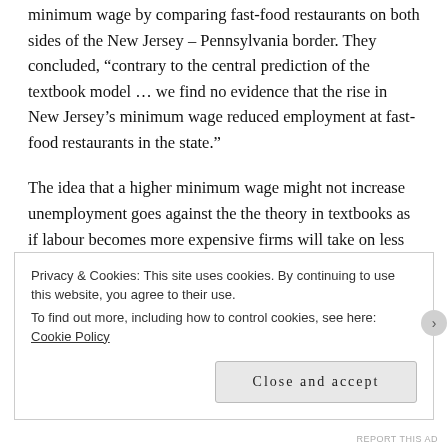minimum wage by comparing fast-food restaurants on both sides of the New Jersey – Pennsylvania border. They concluded, “contrary to the central prediction of the textbook model … we find no evidence that the rise in New Jersey’s minimum wage reduced employment at fast-food restaurants in the state.”
The idea that a higher minimum wage might not increase unemployment goes against the the theory in textbooks as if labour becomes more expensive firms will take on less employees. But there are several reason why this might
Privacy & Cookies: This site uses cookies. By continuing to use this website, you agree to their use.
To find out more, including how to control cookies, see here: Cookie Policy
Close and accept